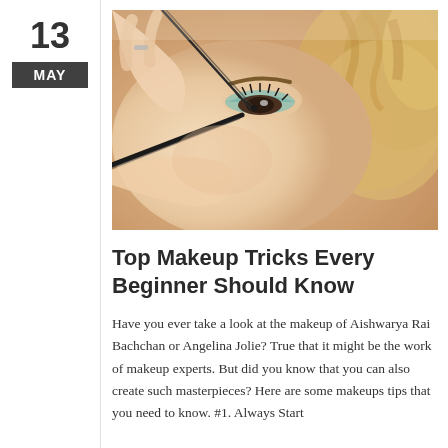13
MAY
[Figure (photo): Close-up photo of a woman having eye makeup applied with tweezers/brush, showing teal eyeshadow, hands with rings, and blonde curly hair in the background.]
Top Makeup Tricks Every Beginner Should Know
Have you ever take a look at the makeup of Aishwarya Rai Bachchan or Angelina Jolie? True that it might be the work of makeup experts. But did you know that you can also create such masterpieces? Here are some makeups tips that you need to know. #1. Always Start